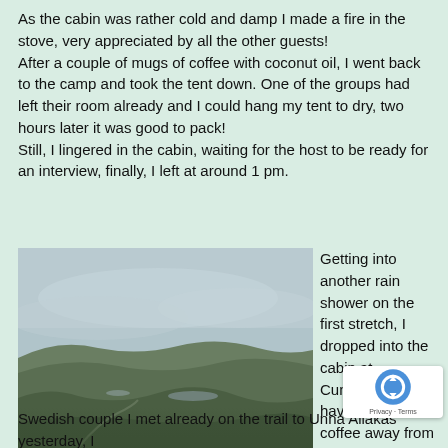As the cabin was rather cold and damp I made a fire in the stove, very appreciated by all the other guests!
After a couple of mugs of coffee with coconut oil, I went back to the camp and took the tent down. One of the groups had left their room already and I could hang my tent to dry, two hours later it was good to pack!
Still, I lingered in the cabin, waiting for the host to be ready for an interview, finally, I left at around 1 pm.
[Figure (photo): Overcast landscape photo showing rolling green hills with low cloud cover and grey sky, taken from an elevated viewpoint. A small body of water is visible in the valley below.]
Getting into another rain shower on the first stretch, I dropped into the cabin at Cunojaure to have a cup of coffee away from the rain. Between chattin two Au guys an
Swedish couple I met already on the trail to Unna Allakas yesterday, I